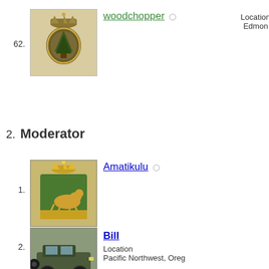62. woodchopper  Location Edmonton
2. Moderator
1. Amatikulu  Location U
2. Bill  Location Pacific Northwest, Oreg
Hollinger  Location Somewhere Between Clever and Stupid
3. Bob Womack